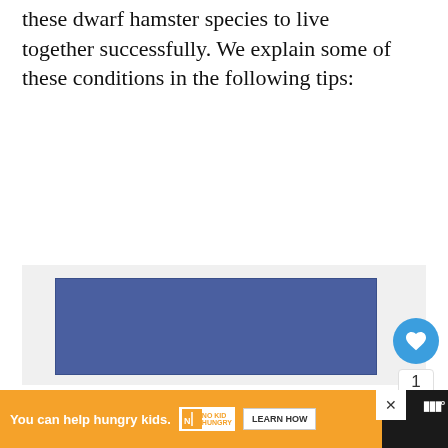these dwarf hamster species to live together successfully. We explain some of these conditions in the following tips:
[Figure (other): Advertisement banner area with blue rectangle placeholder]
[Figure (other): Floating action buttons: heart/like button (blue circle with heart icon), count of 1, and share button (circle with share icon)]
[Figure (other): What's Next panel showing a thumbnail of hamsters with text 'WHAT'S NEXT → What Type of Hamsters C...']
[Figure (other): Bottom advertisement bar: orange background with text 'You can help hungry kids.' No Kid Hungry logo and LEARN HOW button, X close button, and brand icon on dark right side]